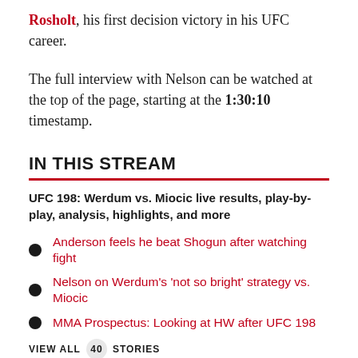Rosholt, his first decision victory in his UFC career.
The full interview with Nelson can be watched at the top of the page, starting at the 1:30:10 timestamp.
IN THIS STREAM
UFC 198: Werdum vs. Miocic live results, play-by-play, analysis, highlights, and more
Anderson feels he beat Shogun after watching fight
Nelson on Werdum's 'not so bright' strategy vs. Miocic
MMA Prospectus: Looking at HW after UFC 198
VIEW ALL 40 STORIES
GET THE LATEST GEAR